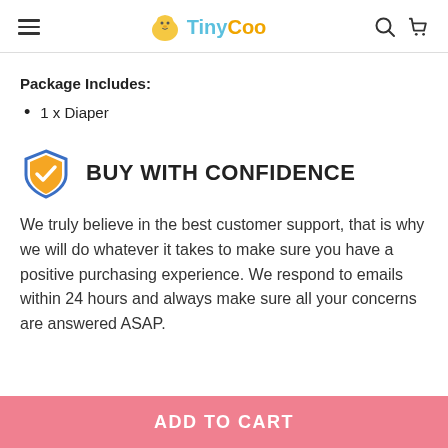TinyCoo
Package Includes:
1 x Diaper
BUY WITH CONFIDENCE
We truly believe in the best customer support, that is why we will do whatever it takes to make sure you have a positive purchasing experience. We respond to emails within 24 hours and always make sure all your concerns are answered ASAP.
ADD TO CART